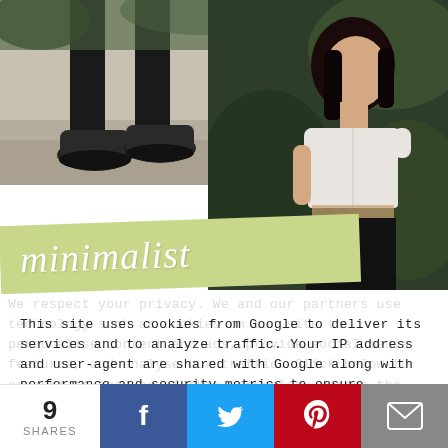[Figure (photo): Left photo showing lower body/feet of a person wearing black pants and Nike sneakers, standing on pavement with green foliage background]
[Figure (photo): Right photo portrait of a young woman with dark hair wearing a white crop top and black pants, standing against dark green tropical foliage]
minimalist
This site uses cookies from Google to deliver its services and to analyze traffic. Your IP address and user-agent are shared with Google along with performance and security metrics to ensure quality of service, generate usage statistics, and to detect and address abuse.
9 SHARES | Facebook | Twitter | Pinterest | Email